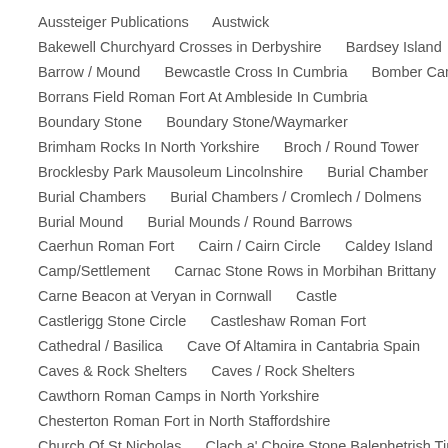Aussteiger Publications    Austwick
Bakewell Churchyard Crosses in Derbyshire    Bardsey Island
Barrow / Mound    Bewcastle Cross In Cumbria    Bomber Camp
Borrans Field Roman Fort At Ambleside In Cumbria
Boundary Stone    Boundary Stone/Waymarker
Brimham Rocks In North Yorkshire    Broch / Round Tower
Brocklesby Park Mausoleum Lincolnshire    Burial Chamber
Burial Chambers    Burial Chambers / Cromlech / Dolmens
Burial Mound    Burial Mounds / Round Barrows
Caerhun Roman Fort    Cairn / Cairn Circle    Caldey Island
Camp/Settlement    Carnac Stone Rows in Morbihan Brittany
Carne Beacon at Veryan in Cornwall    Castle
Castlerigg Stone Circle    Castleshaw Roman Fort
Cathedral / Basilica    Cave Of Altamira in Cantabria Spain
Caves & Rock Shelters    Caves / Rock Shelters
Cawthorn Roman Camps in North Yorkshire
Chesterton Roman Fort in North Staffordshire
Church Of St Nicholas    Clach a' Choire Stone Balephetrish Tiree